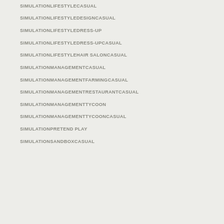SIMULATIONLIFESTYLECASUAL
SIMULATIONLIFESTYLEDESIGNCASUAL
SIMULATIONLIFESTYLEDRESS-UP
SIMULATIONLIFESTYLEDRESS-UPCASUAL
SIMULATIONLIFESTYLEHAIR SALONCASUAL
SIMULATIONMANAGEMENTCASUAL
SIMULATIONMANAGEMENTFARMINGCASUAL
SIMULATIONMANAGEMENTRESTAURANTCASUAL
SIMULATIONMANAGEMENTTYCOON
SIMULATIONMANAGEMENTTYCOONCASUAL
SIMULATIONPRETEND PLAY
SIMULATIONSANDBOXCASUAL